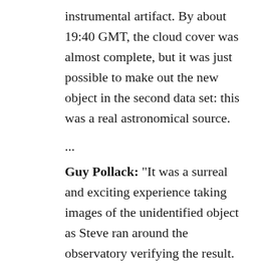instrumental artifact. By about 19:40 GMT, the cloud cover was almost complete, but it was just possible to make out the new object in the second data set: this was a real astronomical source.
...
Guy Pollack: “It was a surreal and exciting experience taking images of the unidentified object as Steve ran around the observatory verifying the result. I’m very chuffed to have helped in the discovery of the M 82 Supernova.”
Tom Wright: “One minute we’re eating pizza then five